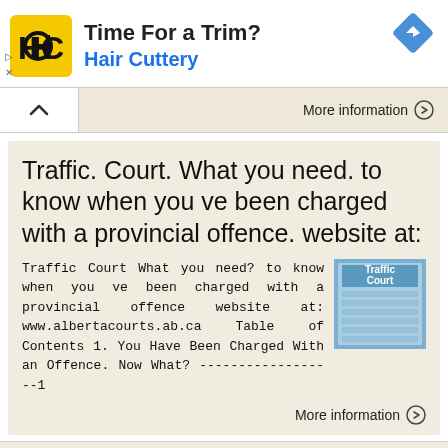[Figure (infographic): Hair Cuttery advertisement banner with logo (HC in yellow square), text 'Time For a Trim?' and 'Hair Cuttery', and a blue diamond navigation icon. Small ad controls (triangle and X) on left side.]
More information →
Traffic. Court. What you need. to know when you ve been charged with a provincial offence. website at:
Traffic Court What you need? to know when you ve been charged with a provincial offence website at: www.albertacourts.ab.ca Table of Contents 1. You Have Been Charged With an Offence. Now What? ------------------1
[Figure (screenshot): Thumbnail image of a 'Traffic Court' booklet with blue cover]
More information →
Queensland DRUG REHABILITATION